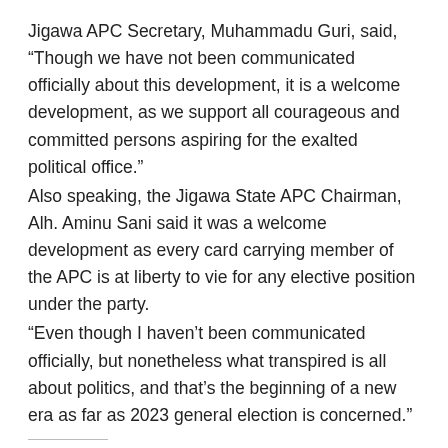Jigawa APC Secretary, Muhammadu Guri, said, “Though we have not been communicated officially about this development, it is a welcome development, as we support all courageous and committed persons aspiring for the exalted political office.”
Also speaking, the Jigawa State APC Chairman, Alh. Aminu Sani said it was a welcome development as every card carrying member of the APC is at liberty to vie for any elective position under the party.
“Even though I haven’t been communicated officially, but nonetheless what transpired is all about politics, and that’s the beginning of a new era as far as 2023 general election is concerned.”
Share this:
Twitter  Facebook